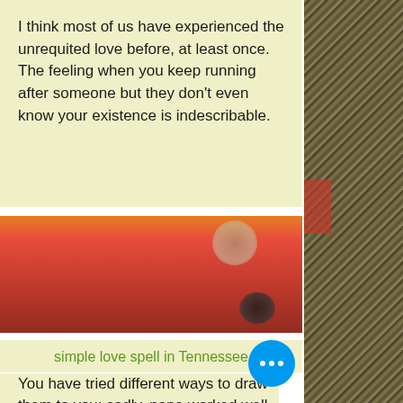I think most of us have experienced the unrequited love before, at least once. The feeling when you keep running after someone but they don't even know your existence is indescribable.
[Figure (photo): Blurred photo with red and orange tones, appears to be an indoor scene]
simple love spell in Tennessee
You have tried different ways to draw them to you; sadly, none worked well
[Figure (illustration): Textured hatched illustration strip on the right side of the page, repeated pattern]